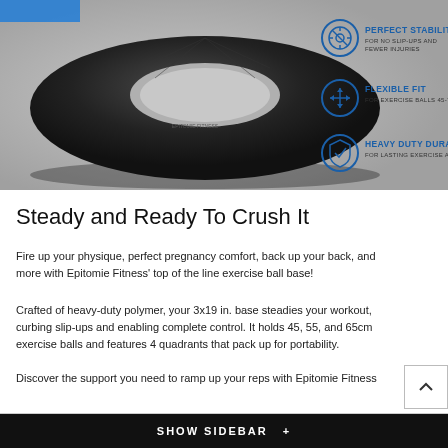[Figure (photo): Black circular exercise ball base ring with hole in center, shown on grey background with product feature icons on right side: Perfect Stability, Flexible Fit, Heavy Duty Durability]
Steady and Ready To Crush It
Fire up your physique, perfect pregnancy comfort, back up your back, and more with Epitomie Fitness' top of the line exercise ball base!
Crafted of heavy-duty polymer, your 3x19 in. base steadies your workout, curbing slip-ups and enabling complete control. It holds 45, 55, and 65cm exercise balls and features 4 quadrants that pack up for portability.
Discover the support you need to ramp up your reps with Epitomie Fitness
Relax or Work It with Your Ball Chair
SHOW SIDEBAR +